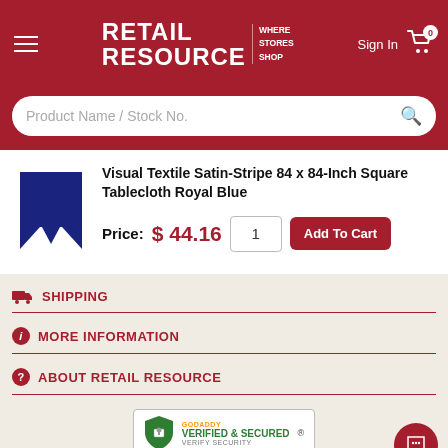RETAIL RESOURCE | WHERE STORES SHOP | Sign In | Cart 0
Product Name / Stock No.
Visual Textile Satin-Stripe 84 x 84-Inch Square Tablecloth Royal Blue
Price: $ 44.16
SHIPPING
MORE INFORMATION
ABOUT RETAIL RESOURCE
[Figure (logo): GoDaddy Verified & Secured badge]
© 1998 - 2022 Retail Resource, LLC All Rights Reserved